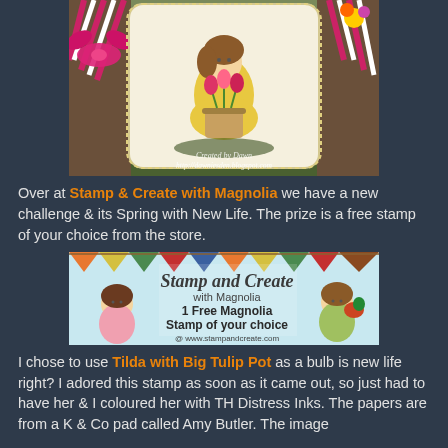[Figure (photo): Handmade craft card featuring Tilda stamp with big tulip pot, pink and white striped ribbons on left and right, yellow outfit, scalloped card shape, flowers, with watermark text 'Created by Dawn http://dawniesden.blogspot.com']
Over at Stamp & Create with Magnolia we have a new challenge & its Spring with New Life. The prize is a free stamp of your choice from the store.
[Figure (illustration): Banner advertisement for 'Stamp and Create with Magnolia' showing two Tilda characters and text '1 Free Magnolia Stamp of your choice @ www.stampandcreate.com']
I chose to use Tilda with Big Tulip Pot as a bulb is new life right? I adored this stamp as soon as it came out, so just had to have her & I coloured her with TH Distress Inks. The papers are from a K & Co pad called Amy Butler. The image